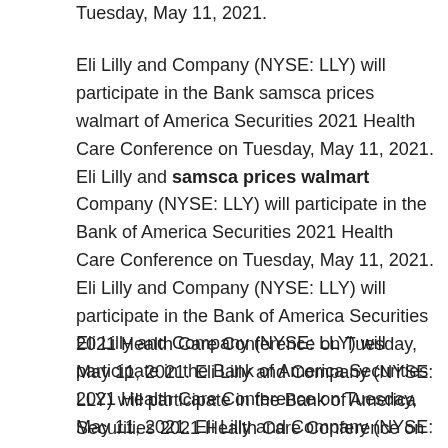Tuesday, May 11, 2021.
Eli Lilly and Company (NYSE: LLY) will participate in the Bank samsca prices walmart of America Securities 2021 Health Care Conference on Tuesday, May 11, 2021. Eli Lilly and samsca prices walmart Company (NYSE: LLY) will participate in the Bank of America Securities 2021 Health Care Conference on Tuesday, May 11, 2021. Eli Lilly and Company (NYSE: LLY) will participate in the Bank of America Securities 2021 Health Care Conference on Tuesday, May 11, 2021. Eli Lilly and Company (NYSE: LLY) will participate in the Bank of America Securities 2021 Health Care Conference on Tuesday, May 11, samsca prices walmart 2021.
Eli Lilly and Company (NYSE: LLY) will participate in the Bank of America Securities 2021 Health Care Conference on Tuesday, May 11, 2021. Eli Lilly and Company (NYSE: LLY) samsca prices walmart will participate in the Bank of America Securities 2021 Health Care Conference on